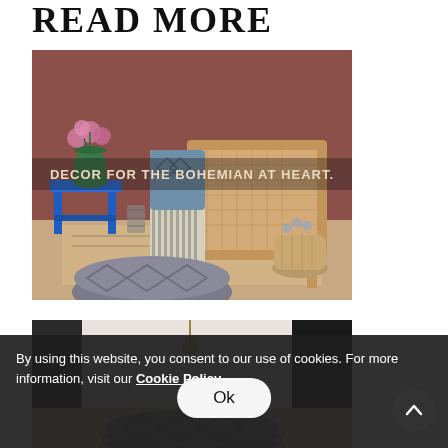READ MORE
[Figure (photo): Bohemian home decor scene with rattan chair, striped throw with tassels, blue macrame pillow, blue painted side table, green glass vase with pink flowers, floor pouf, woven basket with flowers, and patterned rug. Text overlay reads: DECOR FOR THE BOHEMIAN AT HEART.]
[Figure (photo): Interior room scene, partially visible, dark tones with a decorative pendant light visible at top. A large textured floor pouf is partially visible.]
By using this website, you consent to our use of cookies. For more information, visit our Cookie Policy
Ok